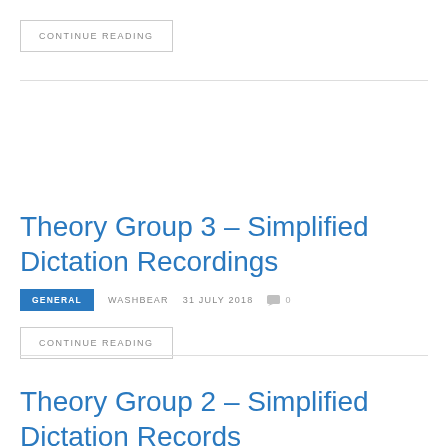CONTINUE READING
Theory Group 3 – Simplified Dictation Recordings
GENERAL   WASHBEAR   31 JULY 2018   0
CONTINUE READING
Theory Group 2 – Simplified Dictation Records